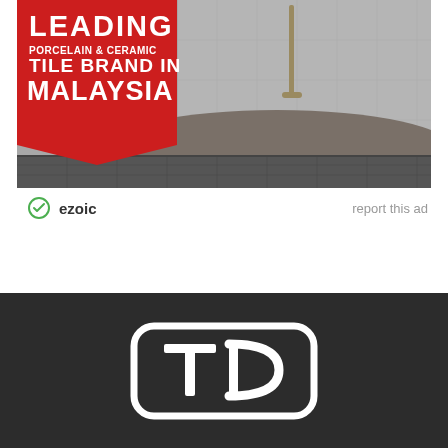[Figure (photo): Advertisement for a leading porcelain and ceramic tile brand in Malaysia, showing a freestanding bathtub in a modern bathroom with grey tiles and vertical slat wall panel. Red banner in top-left corner with text: LEADING PORCELAIN & CERAMIC TILE BRAND IN MALAYSIA]
ezoic   report this ad
[Figure (logo): TD logo in white on dark charcoal background, letters T and D in bold inside a rounded rectangle border]